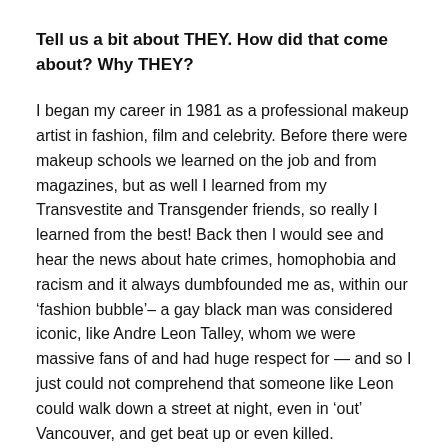Tell us a bit about THEY. How did that come about? Why THEY?
I began my career in 1981 as a professional makeup artist in fashion, film and celebrity. Before there were makeup schools we learned on the job and from magazines, but as well I learned from my Transvestite and Transgender friends, so really I learned from the best! Back then I would see and hear the news about hate crimes, homophobia and racism and it always dumbfounded me as, within our ‘fashion bubble’– a gay black man was considered iconic, like Andre Leon Talley, whom we were massive fans of and had huge respect for — and so I just could not comprehend that someone like Leon could walk down a street at night, even in ‘out’ Vancouver, and get beat up or even killed.